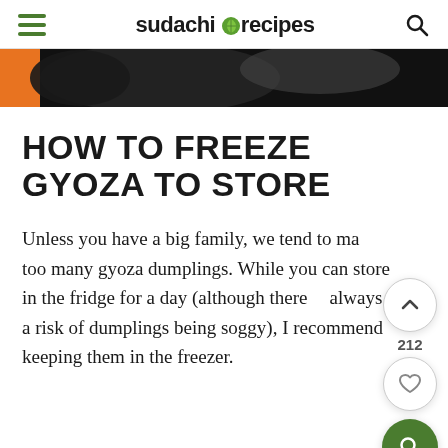sudachi recipes
[Figure (photo): Partial view of a plate with gyoza dumplings, dark background with orange accent on left edge]
HOW TO FREEZE GYOZA TO STORE
Unless you have a big family, we tend to make too many gyoza dumplings. While you can store in the fridge for a day (although there is always a risk of dumplings being soggy), I recommend keeping them in the freezer.